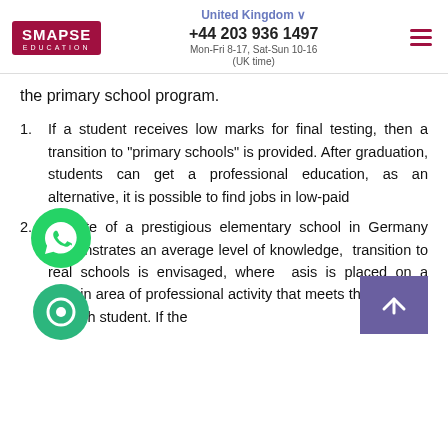SMAPSE EDUCATION | United Kingdom | +44 203 936 1497 | Mon-Fri 8-17, Sat-Sun 10-16 (UK time)
the primary school program.
1. If a student receives low marks for final testing, then a transition to "primary schools" is provided. After graduation, students can get a professional education, as an alternative, it is possible to find jobs in low-paid [jobs].
2. [A g]raduate of a prestigious elementary school in Germany demonstrates an average level of knowledge, [a] transition to real schools is envisaged, where [emph]asis is placed on a certain area of professional activity that meets the interests of each student. If the